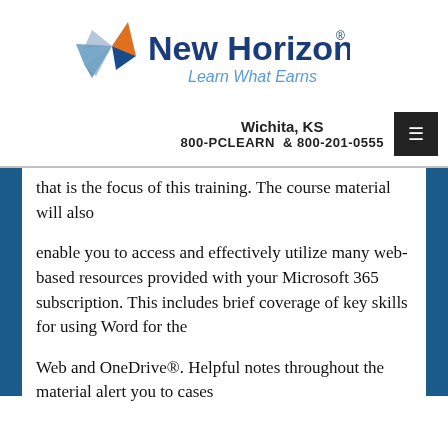[Figure (logo): New Horizons logo with tagline 'Learn What Earns']
Wichita, KS
800-PCLEARN & 800-201-0555
that is the focus of this training. The course material will also
enable you to access and effectively utilize many web-based resources provided with your Microsoft 365 subscription. This includes brief coverage of key skills for using Word for the
Web and OneDrive®. Helpful notes throughout the material alert you to cases